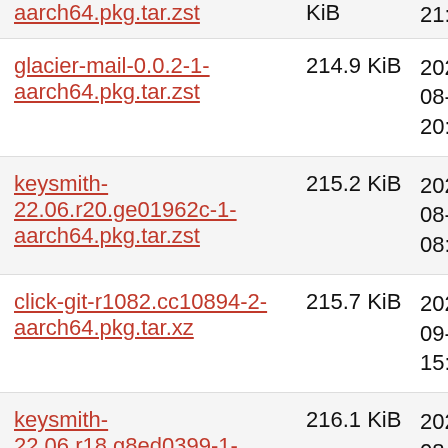| Filename | Size | Date |
| --- | --- | --- |
| aarch64.pkg.tar.zst | KiB | 21:29:3 |
| glacier-mail-0.0.2-1-aarch64.pkg.tar.zst | 214.9 KiB | 2022-08-03 20:25:3 |
| keysmith-22.06.r20.ge01962c-1-aarch64.pkg.tar.zst | 215.2 KiB | 2022-08-22 08:34:5 |
| click-git-r1082.cc10894-2-aarch64.pkg.tar.xz | 215.7 KiB | 2020-09-13 15:48:4 |
| keysmith-22.06.r18.g8ed0399-1-aarch64.pkg.tar.zst | 216.1 KiB | 2022-08-08 23:19:2 |
| kbackup-22.04.3.r451.g76cd24f-1-aarch64.pkg.tar.zst | 217.0 KiB | 2022-08-11 18:29:3 |
| mycroft-skill-installer-r97.0d50d79-1-aarch64.pkg.tar.zst | 218.8 KiB | 2022-08-20 21:18:0 |
| calamares-arm-oem-qml-20210708-1-any.pkg.tar.zst | 219.7 KiB | 2021-07-08 13:45:3 |
|  |  | 2022- |